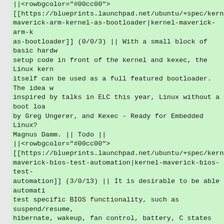||<rowbgcolor="#00cc00">
[[https://blueprints.launchpad.net/ubuntu/+spec/kernel-maverick-arm-kernel-as-bootloader|kernel-maverick-arm-kernel-as-bootloader]] (0/0/3) || With a small block of basic hardware setup code in front of the kernel and kexec, the Linux kernel itself can be used as a full featured bootloader. The idea was inspired by talks in ELC this year, Linux without a boot loader by Greg Ungerer, and Kexec - Ready for Embedded Linux? by Magnus Damm. || Todo ||
||<rowbgcolor="#00cc00">
[[https://blueprints.launchpad.net/ubuntu/+spec/kernel-maverick-bios-test-automation|kernel-maverick-bios-test-automation]] (3/0/13) || It is desirable to be able automatically test specific BIOS functionality, such as suspend/resume, hibernate, wakeup, fan control, battery, C states etc.. to log and hence be able to fix or workaround BIOS/ACPI errors. Also it's desirable to add more kernel debug into hibernate/suspend code paths to help automatically to pin point BIOS errors. We propose a tool + kernel debug to do this automatic testing and diagnosis. || Todo ||
||<rowbgcolor="#00cc00">
[[https://blueprints.launchpad.net/ubuntu/+spec/kernel-maverick-bug-handling|kernel-maverick-bug-handling]] (4...